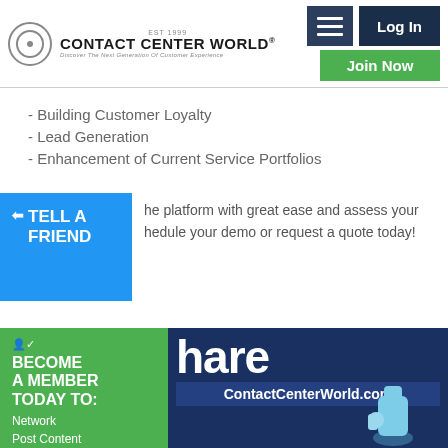Contact Center World - Discover The Next Generation of Customer Experience | Log In | Join Now
- Building Customer Loyalty
- Lead Generation
- Enhancement of Current Service Portfolios
he platform with great ease and assess your hedule your demo or request a quote today!
TELL A FRIEND
BECOME A MEMBER TODAY TO: Network Post Content Enter Awards + Much More
hare ContactCenterWorld.com